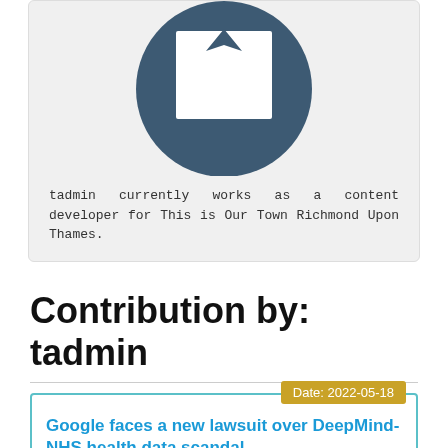[Figure (illustration): Profile avatar: dark teal circle with a white abstract crown/person silhouette icon, shown partially cropped at the top of a light grey profile card.]
tadmin currently works as a content developer for This is Our Town Richmond Upon Thames.
Contribution by: tadmin
Date: 2022-05-18
Google faces a new lawsuit over DeepMind-NHS health data scandal
American technology giant, Google, is reportedly facing a new class-action lawsuit